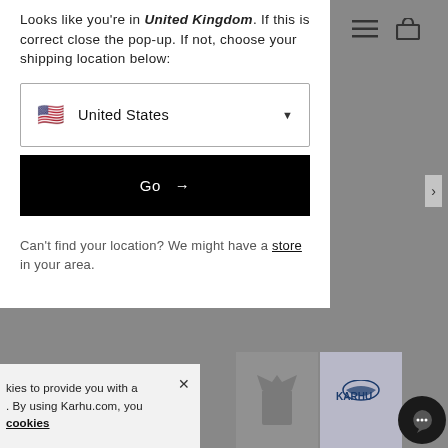Looks like you're in United Kingdom. If this is correct close the pop-up. If not, choose your shipping location below:
[Figure (screenshot): Dropdown selector showing a US flag emoji and the text 'United States' with a dropdown arrow]
[Figure (screenshot): Black button with white text 'Go →']
Can't find your location? We might have a store in your area.
kies to provide you with a . By using Karhu.com, you cookies
[Figure (screenshot): Cookie consent banner at bottom left with close X button]
[Figure (photo): Product images of shirts and Karhu branded apparel at bottom right]